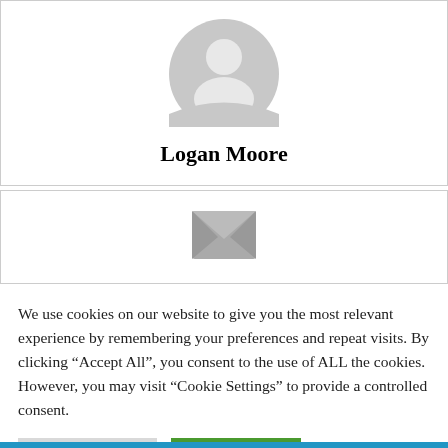[Figure (illustration): Generic user avatar icon: a grey circle with a white silhouette of a person (head and shoulders)]
Logan Moore
[Figure (illustration): Grey envelope icon representing email/message]
We use cookies on our website to give you the most relevant experience by remembering your preferences and repeat visits. By clicking "Accept All", you consent to the use of ALL the cookies. However, you may visit "Cookie Settings" to provide a controlled consent.
Cookie Settings | Accept All